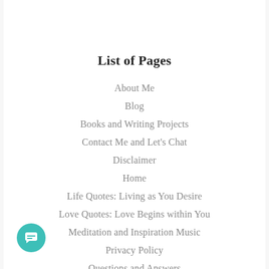List of Pages
About Me
Blog
Books and Writing Projects
Contact Me and Let's Chat
Disclaimer
Home
Life Quotes: Living as You Desire
Love Quotes: Love Begins within You
Meditation and Inspiration Music
Privacy Policy
Questions and Answers
Quotes: Wisdom Beyond the Words